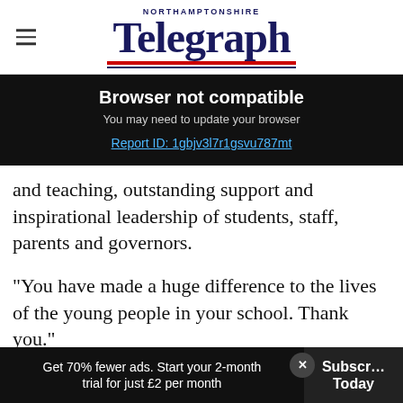Northamptonshire Telegraph
Browser not compatible
You may need to update your browser
Report ID: 1gbjv3l7r1gsvu787mt
and teaching, outstanding support and inspirational leadership of students, staff, parents and governors.
"You have made a huge difference to the lives of the young people in your school. Thank you."
Get 70% fewer ads. Start your 2-month trial for just £2 per month   Subscribe Today